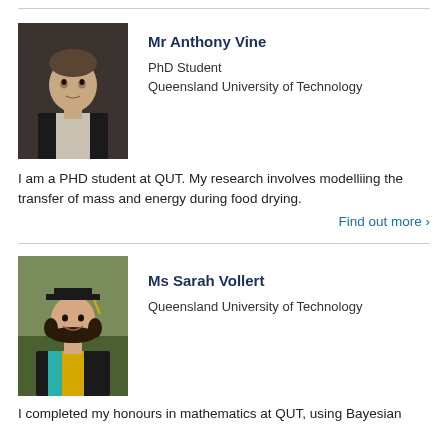[Figure (photo): Headshot of Mr Anthony Vine, a young man in a dark suit with a light shirt, standing against a dark background.]
Mr Anthony Vine
PhD Student
Queensland University of Technology
I am a PHD student at QUT. My research involves modelliing the transfer of mass and energy during food drying.
Find out more >
[Figure (photo): Photo of Ms Sarah Vollert in graduation cap and gown with teal sash, smiling, at an outdoor graduation ceremony.]
Ms Sarah Vollert
Queensland University of Technology
I completed my honours in mathematics at QUT, using Bayesian